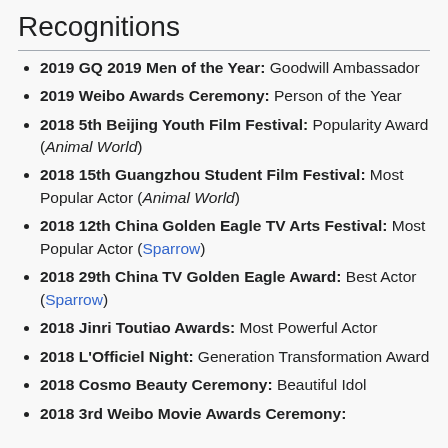Recognitions
2019 GQ 2019 Men of the Year: Goodwill Ambassador
2019 Weibo Awards Ceremony: Person of the Year
2018 5th Beijing Youth Film Festival: Popularity Award (Animal World)
2018 15th Guangzhou Student Film Festival: Most Popular Actor (Animal World)
2018 12th China Golden Eagle TV Arts Festival: Most Popular Actor (Sparrow)
2018 29th China TV Golden Eagle Award: Best Actor (Sparrow)
2018 Jinri Toutiao Awards: Most Powerful Actor
2018 L'Officiel Night: Generation Transformation Award
2018 Cosmo Beauty Ceremony: Beautiful Idol
2018 3rd Weibo Movie Awards Ceremony: